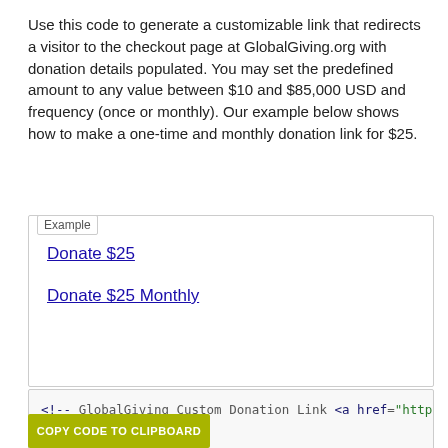Use this code to generate a customizable link that redirects a visitor to the checkout page at GlobalGiving.org with donation details populated. You may set the predefined amount to any value between $10 and $85,000 USD and frequency (once or monthly). Our example below shows how to make a one-time and monthly donation link for $25.
Example
Donate $25
Donate $25 Monthly
<!-- GlobalGiving Custom Donation Link
<a href="https://www.globalgiving.org/d
<a href="https://www.globalgiving.org/d
COPY CODE TO CLIPBOARD